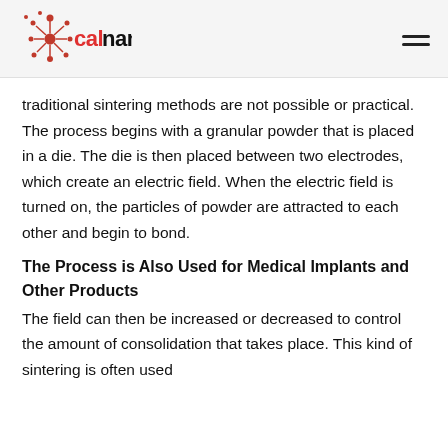calnano
traditional sintering methods are not possible or practical. The process begins with a granular powder that is placed in a die. The die is then placed between two electrodes, which create an electric field. When the electric field is turned on, the particles of powder are attracted to each other and begin to bond.
The Process is Also Used for Medical Implants and Other Products
The field can then be increased or decreased to control the amount of consolidation that takes place. This kind of sintering is often used